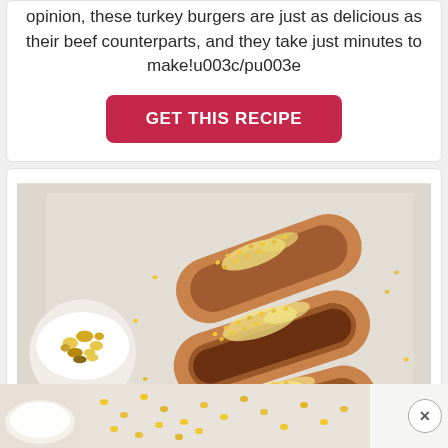opinion, these turkey burgers are just as delicious as their beef counterparts, and they take just minutes to make!u003c/pu003e
GET THIS RECIPE
[Figure (photo): Three hot dogs in buns topped with melted cheese and corn relish, arranged on white paper, with a small bowl of corn and mushroom relish on the left side]
[Figure (photo): Partial view of a bowl with a light-colored creamy dip or sauce, and scattered corn kernels on a light background, with a close button (X) in the bottom right corner]